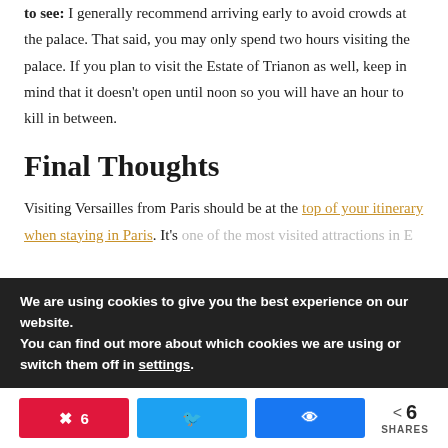to see: I generally recommend arriving early to avoid crowds at the palace. That said, you may only spend two hours visiting the palace. If you plan to visit the Estate of Trianon as well, keep in mind that it doesn't open until noon so you will have an hour to kill in between.
Final Thoughts
Visiting Versailles from Paris should be at the top of your itinerary when staying in Paris. It's one of the most visited attractions in E...
We are using cookies to give you the best experience on our website.
You can find out more about which cookies we are using or switch them off in settings.